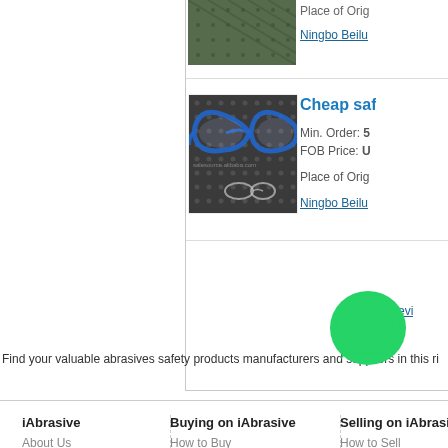[Figure (photo): Top product image - textured dark mesh/abrasive material (partially visible at top)]
Place of Orig
Ningbo Beilu
[Figure (photo): Cheap safety glasses/goggles on dark mesh surface - product listing image]
Cheap saf
Min. Order: 5
FOB Price: U
Place of Orig
Ningbo Beilu
[Figure (logo): WhatsApp green phone icon/logo]
Find your valuable abrasives safety products manufacturers and suppliers in this ri
iAbrasive
About Us
Buying on iAbrasive
How to Buy
Selling on iAbrasive
How to Sell